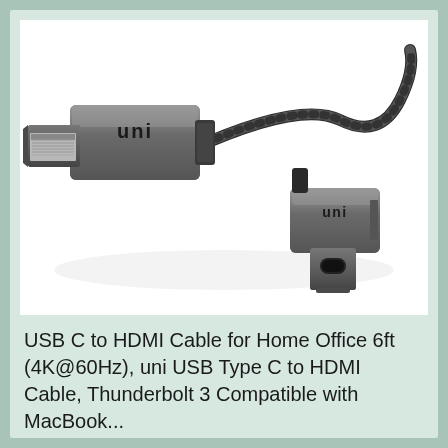[Figure (photo): A USB-C to HDMI cable with braided nylon exterior. The left connector is a standard HDMI plug, and the right connector is a USB-C plug. Both connectors have grey aluminum housings with the 'uni' brand logo. The cable is black and braided.]
USB C to HDMI Cable for Home Office 6ft (4K@60Hz), uni USB Type C to HDMI Cable, Thunderbolt 3 Compatible with MacBook...